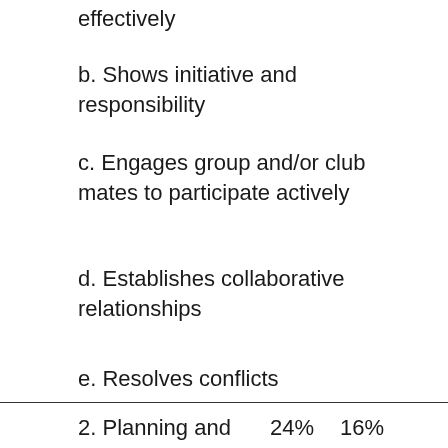effectively
b. Shows initiative and responsibility
c. Engages group and/or club mates to participate actively
d. Establishes collaborative relationships
e. Resolves conflicts
|  |  |  |
| --- | --- | --- |
| 2. Planning and Organizational Skills (40%) | 24% | 16% |